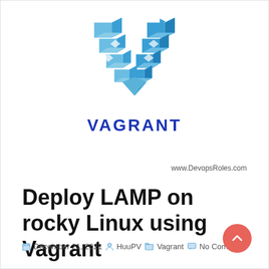[Figure (logo): Vagrant logo: a blue 3D geometric V shape made of blocks, with the word VAGRANT below in bold blue letters]
www.DevopsRoles.com
Deploy LAMP on rocky Linux using Vagrant
December 21, 2021  HuuPV  Vagrant  No Comment